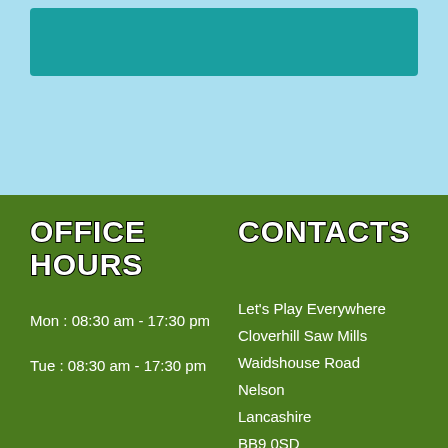[Figure (illustration): Light blue sky background section with a teal/dark cyan banner at the top]
OFFICE HOURS
CONTACTS
Mon : 08:30 am - 17:30 pm

Tue : 08:30 am - 17:30 pm
Let's Play Everywhere
Cloverhill Saw Mills
Waidshouse Road
Nelson
Lancashire
BB9 0SD